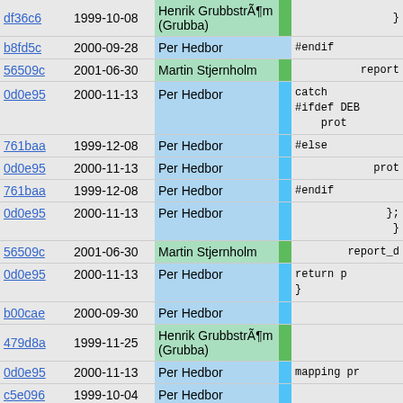| Hash | Date | Author |  | Code |
| --- | --- | --- | --- | --- |
| df36c6 | 1999-10-08 | Henrik GrubbstrÃ¶m (Grubba) |  | } |
| b8fd5c | 2000-09-28 | Per Hedbor |  | #endif |
| 56509c | 2001-06-30 | Martin Stjernholm |  | report |
| 0d0e95 | 2000-11-13 | Per Hedbor |  | catch
#ifdef DEB
   prot |
| 761baa | 1999-12-08 | Per Hedbor |  | #else |
| 0d0e95 | 2000-11-13 | Per Hedbor |  | prot |
| 761baa | 1999-12-08 | Per Hedbor |  | #endif |
| 0d0e95 | 2000-11-13 | Per Hedbor |  | };
} |
| 56509c | 2001-06-30 | Martin Stjernholm |  | report_d |
| 0d0e95 | 2000-11-13 | Per Hedbor |  | return p
} |
| b00cae | 2000-09-30 | Per Hedbor |  |  |
| 479d8a | 1999-11-25 | Henrik GrubbstrÃ¶m (Grubba) |  |  |
| 0d0e95 | 2000-11-13 | Per Hedbor |  | mapping pr |
| c5e096 | 1999-10-04 | Per Hedbor |  |  |
| 41a5c0 | 2003-10-22 | Henrik GrubbstrÃ¶m (Grubba) |  | // prot:ip
mapping(st |